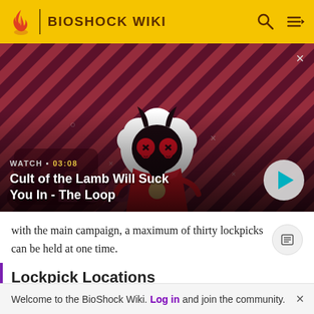BIOSHOCK WIKI
[Figure (screenshot): Video thumbnail for 'Cult of the Lamb Will Suck You In - The Loop' showing a cartoon lamb character on a red diagonal striped background with WATCH • 03:08 label and a play button]
with the main campaign, a maximum of thirty lockpicks can be held at one time.
Lockpick Locations
Welcome to the BioShock Wiki. Log in and join the community.